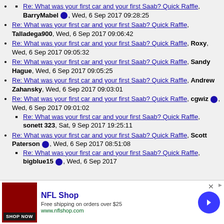Re: What was your first car and your first Saab? Quick Raffle, BarryMabel, Wed, 6 Sep 2017 09:28:25
Re: What was your first car and your first Saab? Quick Raffle, Talladega900, Wed, 6 Sep 2017 09:06:42
Re: What was your first car and your first Saab? Quick Raffle, Roxy, Wed, 6 Sep 2017 09:05:32
Re: What was your first car and your first Saab? Quick Raffle, Sandy Hague, Wed, 6 Sep 2017 09:05:25
Re: What was your first car and your first Saab? Quick Raffle, Andrew Zahansky, Wed, 6 Sep 2017 09:03:01
Re: What was your first car and your first Saab? Quick Raffle, cgwiz, Wed, 6 Sep 2017 09:01:02
Re: What was your first car and your first Saab? Quick Raffle, sonett 323, Sat, 9 Sep 2017 19:25:11
Re: What was your first car and your first Saab? Quick Raffle, Scott Paterson, Wed, 6 Sep 2017 08:51:08
Re: What was your first car and your first Saab? Quick Raffle, bigblue15, Wed, 6 Sep 2017
[Figure (screenshot): NFL Shop advertisement banner with red product image, shop now button, NFL Shop title, free shipping offer, and navigation arrow]